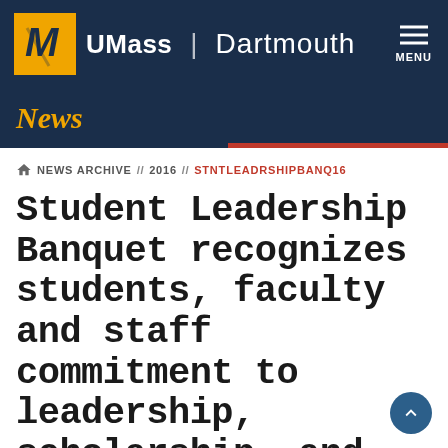UMass | Dartmouth
News
NEWS ARCHIVE // 2016 // STNTLEADRSHIPBANQ16
Student Leadership Banquet recognizes students, faculty and staff commitment to leadership, scholarship, and excellence